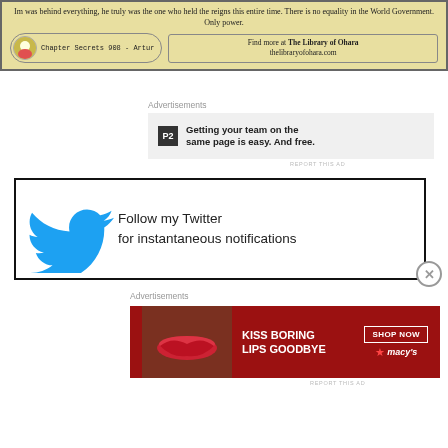[Figure (other): Library of Ohara banner with chapter secrets branding, avatar icon, and website URL thelibrayofohara.com]
Im was behind everything, he truly was the one who held the reigns this entire time. There is no equality in the World Government. Only power.
Advertisements
[Figure (other): P2 advertisement: Getting your team on the same page is easy. And free.]
[Figure (other): Twitter follow banner: Follow my Twitter for instantaneous notifications]
Advertisements
[Figure (other): Macy's advertisement: Kiss boring lips goodbye. Shop Now. Macy's.]